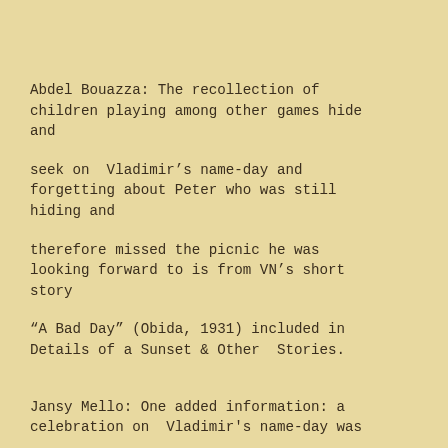Abdel Bouazza: The recollection of children playing among other games hide and
seek on  Vladimir’s name-day and forgetting about Peter who was still hiding and
therefore missed the picnic he was looking forward to is from VN’s short story
“A Bad Day” (Obida, 1931) included in Details of a Sunset & Other  Stories.
Jansy Mello: One added information: a celebration on  Vladimir's name-day was
described in his short story "A Bad Day." And, of  course, a precise correction